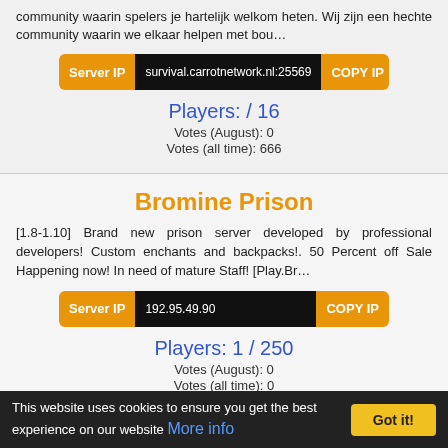community waarin spelers je hartelijk welkom heten. Wij zijn een hechte community waarin we elkaar helpen met bou…
Server IP  survival.carrotnetwork.nl:25569  COPY IP
Players: / 16
Votes (August): 0
Votes (all time): 666
Bromine Prison
[1.8-1.10] Brand new prison server developed by professional developers! Custom enchants and backpacks!. 50 Percent off Sale Happening now! In need of mature Staff! [Play.Br…
Server IP  192.95.49.90  COPY IP
Players: 1 / 250
Votes (August): 0
Votes (all time): 0
This website uses cookies to ensure you get the best experience on our website More info  Got it!